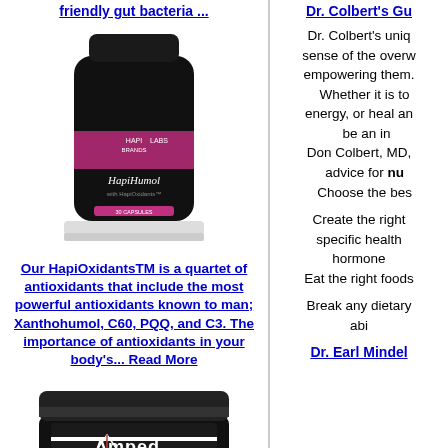friendly gut bacteria ...
[Figure (photo): HapiHumol supplement bottle, black with pink label, HapiLabs Brands, 30 capsules]
Our HapiOxidantsTM is a quartet of antioxidants that include the most powerful antioxidants known to man; Xanthohumol, C60, PQQ, and C3. The importance of antioxidants in your body's... Read More
[Figure (photo): Amped The Original Coffee jar, black canister with red and white logo]
Dr. Colbert's Gu
Dr. Colbert's unique sense of the overwhelming, empowering them. Whether it is to energy, or heal and be an in Don Colbert, MD, advice for nu Choose the bes
Create the right specific health hormone Eat the right foods
Break any dietary abi
Dr. Earl Mindel